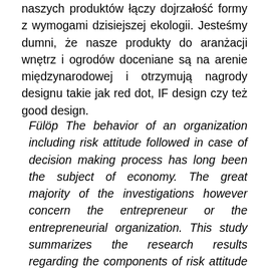naszych produktów łączy dojrzałość formy z wymogami dzisiejszej ekologii. Jesteśmy dumni, że nasze produkty do aranżacji wnętrz i ogrodów doceniane są na arenie międzynarodowej i otrzymują nagrody designu takie jak red dot, IF design czy też good design.
Fülöp The behavior of an organization including risk attitude followed in case of decision making process has long been the subject of economy. The great majority of the investigations however concern the entrepreneur or the entrepreneurial organization. This study summarizes the research results regarding the components of risk attitude and the main characteristics of the behavior of a public organization and its managers. The bureaucratic